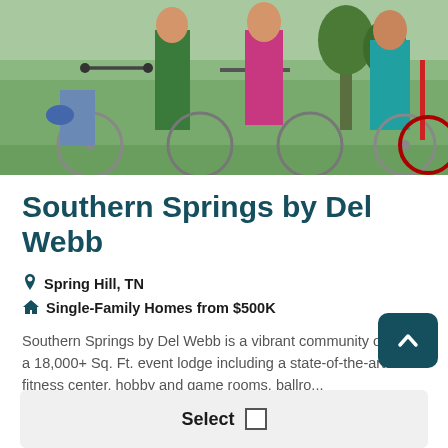[Figure (photo): Group of people with bicycles outdoors in a community setting, sunny day with greenery in background]
Southern Springs by Del Webb
📍 Spring Hill, TN
🏠 Single-Family Homes from $500K
Southern Springs by Del Webb is a vibrant community offering a 18,000+ Sq. Ft. event lodge including a state-of-the-art fitness center, hobby and game rooms, ballro...
Read More...
Select